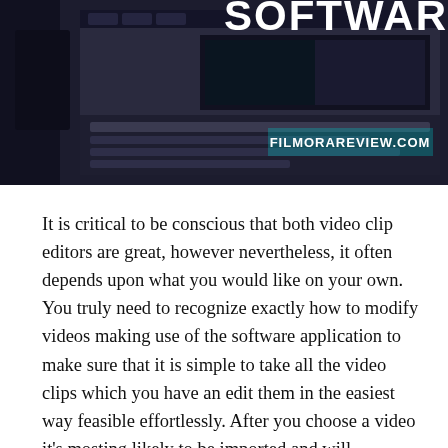[Figure (screenshot): Dark-themed video editing software screenshot with white bold text 'SOFTWARE' visible at top and 'FILMORAREVIEW.COM' watermark in lower right area]
It is critical to be conscious that both video clip editors are great, however nevertheless, it often depends upon what you would like on your own. You truly need to recognize exactly how to modify videos making use of the software application to make sure that it is simple to take all the video clips which you have an edit them in the easiest way feasible effortlessly. After you choose a video it's mosting likely to be imported and will certainly appear on the Leaner panel. Filmora Video Editing Review QualitiesJust buying as well as mounting the computer software application isn't really sufficient when it relates to the video clip editing and enhancing component.